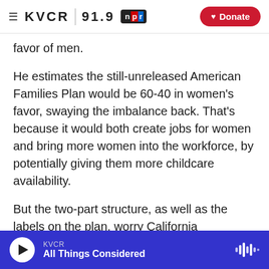≡ KVCR 91.9 npr • Donate
favor of men.
He estimates the still-unreleased American Families Plan would be 60-40 in women's favor, swaying the imbalance back. That's because it would both create jobs for women and bring more women into the workforce, by potentially giving them more childcare availability.
But the two-part structure, as well as the labels on the plan, worry California Democratic Rep. Katie Porter.
Like many American women, Porter's own family
KVCR • All Things Considered